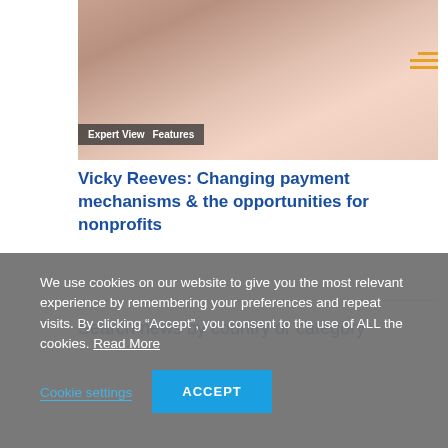[Figure (photo): Close-up photo of hands, warm skin tones, appears to be a person's hands in motion]
Expert View   Features
Vicky Reeves: Changing payment mechanisms & the opportunities for nonprofits
Search news by country or category
We use cookies on our website to give you the most relevant experience by remembering your preferences and repeat visits. By clicking “Accept”, you consent to the use of ALL the cookies. Read More
Cookie settings   ACCEPT